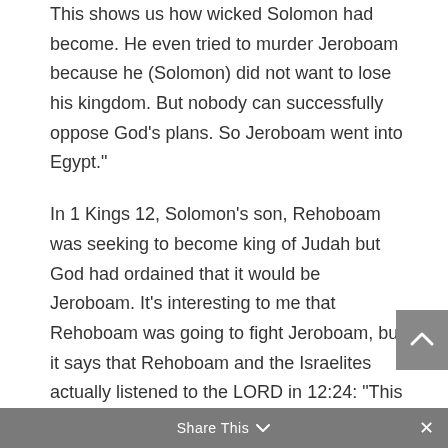This shows us how wicked Solomon had become. He even tried to murder Jeroboam because he (Solomon) did not want to lose his kingdom. But nobody can successfully oppose God’s plans. So Jeroboam went into Egypt.”
In 1 Kings 12, Solomon’s son, Rehoboam was seeking to become king of Judah but God had ordained that it would be Jeroboam. It’s interesting to me that Rehoboam was going to fight Jeroboam, but it says that Rehoboam and the Israelites actually listened to the LORD in 12:24: “This is what the Lord says: ‘You are not to march up and fight against your brothers, the Israelites. Each of you return home, for this situation is from me.’ So they listened to the
Share This ∨  ✕